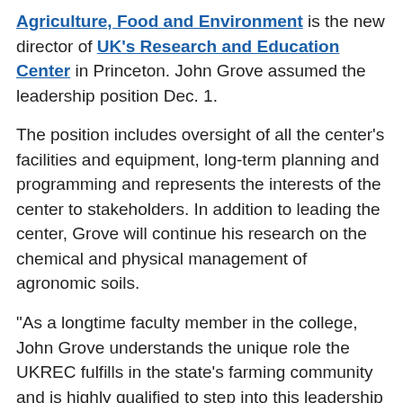Agriculture, Food and Environment is the new director of UK's Research and Education Center in Princeton. John Grove assumed the leadership position Dec. 1.
The position includes oversight of all the center's facilities and equipment, long-term planning and programming and represents the interests of the center to stakeholders. In addition to leading the center, Grove will continue his research on the chemical and physical management of agronomic soils.
“As a longtime faculty member in the college, John Grove understands the unique role the UKREC fulfills in the state’s farming community and is highly qualified to step into this leadership role,” said Rick Bennett, associate dean for research and director of the Kentucky Agricultural Experiment Station.
A native of southern Michigan, Grove received his bachelor’s and master’s degrees from Michigan State University. He earned his doctorate at the University of Georgia in 1999. He has been on the UK faculty since...